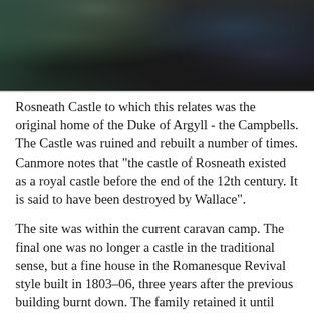[Figure (photo): Dark moody photograph of the ruins of Rosneath Castle, showing decayed dark wooden/metal structures, bare trees, and overgrown surroundings in low light.]
Rosneath Castle to which this relates was the original home of the Duke of Argyll - the Campbells. The Castle was ruined and rebuilt a number of times. Canmore notes that "the castle of Rosneath existed as a royal castle before the end of the 12th century. It is said to have been destroyed by Wallace".
The site was within the current caravan camp. The final one was no longer a castle in the traditional sense, but a fine house in the Romanesque Revival style built in 1803–06, three years after the previous building burnt down. The family retained it until Princess Louise died in 1939. You can find an illustration of it on the Canmore link below.
It is difficult to comprehend why such fine buildings didn't ...